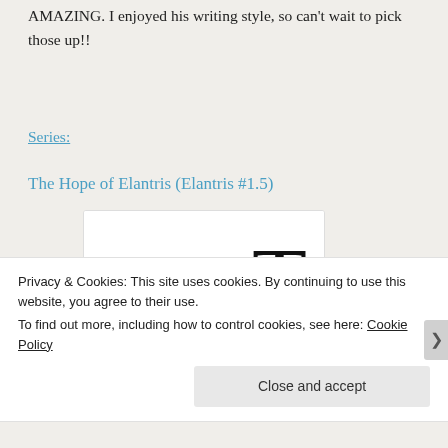AMAZING. I enjoyed his writing style, so can't wait to pick those up!!
Series:
The Hope of Elantris (Elantris #1.5)
[Figure (illustration): Partially visible book cover image with large stylized letters 'A' and 'T' visible, and partial text 'Aubrey...' at the bottom, shown inside a white card/frame]
Privacy & Cookies: This site uses cookies. By continuing to use this website, you agree to their use.
To find out more, including how to control cookies, see here: Cookie Policy
Close and accept